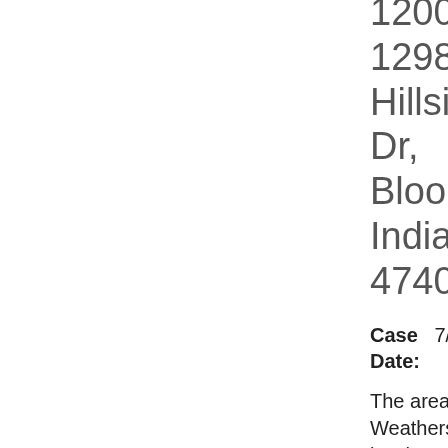1200-1298 E Hillside Dr, Bloomington, Indiana, 47401
Case Date: 7/3/20
The area of Hillside between Weatherstone and Olive has its share of potholes, but it also has a water pipe that is missing its